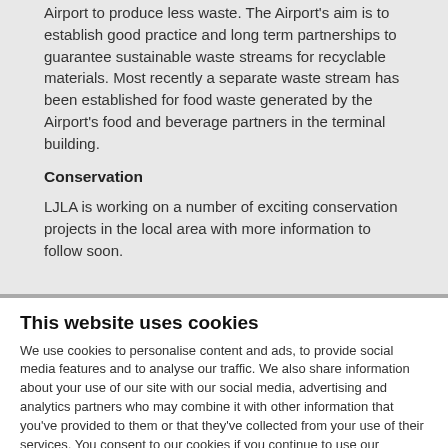Airport to produce less waste. The Airport's aim is to establish good practice and long term partnerships to guarantee sustainable waste streams for recyclable materials. Most recently a separate waste stream has been established for food waste generated by the Airport's food and beverage partners in the terminal building.
Conservation
LJLA is working on a number of exciting conservation projects in the local area with more information to follow soon.
This website uses cookies
We use cookies to personalise content and ads, to provide social media features and to analyse our traffic. We also share information about your use of our site with our social media, advertising and analytics partners who may combine it with other information that you've provided to them or that they've collected from your use of their services. You consent to our cookies if you continue to use our website.
Use necessary cookies only
Allow all cookies
Show details